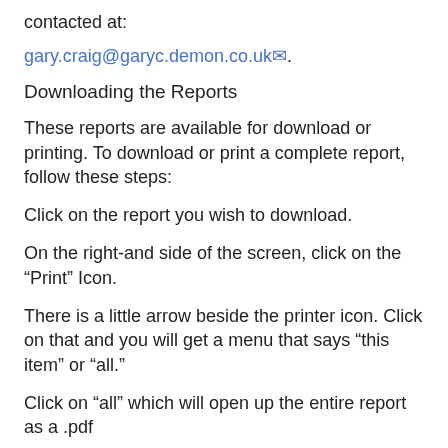contacted at:
gary.craig@garyc.demon.co.uk.
Downloading the Reports
These reports are available for download or printing. To download or print a complete report, follow these steps:
Click on the report you wish to download.
On the right-and side of the screen, click on the “Print” Icon.
There is a little arrow beside the printer icon. Click on that and you will get a menu that says “this item” or “all.”
Click on “all” which will open up the entire report as a .pdf
You can then either download the complete report or print it out.